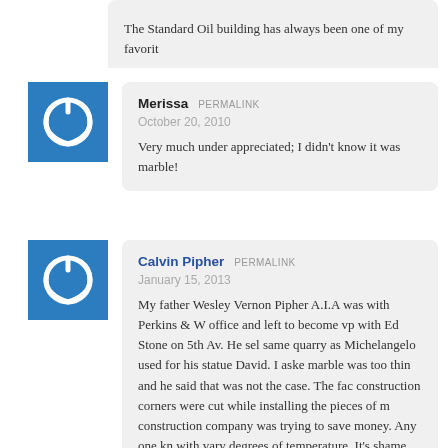The Standard Oil building has always been one of my favorit…
[Figure (illustration): Blue square avatar with white power button icon]
Merissa  PERMALINK
October 20, 2010
Very much under appreciated; I didn't know it was marble!
[Figure (illustration): Blue square avatar with white power button icon]
Calvin Pipher  PERMALINK
January 15, 2013
My father Wesley Vernon Pipher A.I.A was with Perkins & W office and left to become vp with Ed Stone on 5th Av. He sel same quarry as Michelangelo used for his statue David. I aske marble was too thin and he said that was not the case. The fac construction corners were cut while installing the pieces of m construction company was trying to save money. Any one kn with vary degrees of temperature. It's shame they weren't sec although still a beautiful building it was so much nicer when Will also allowed Edward Durell Stone & Assoc. to comp…